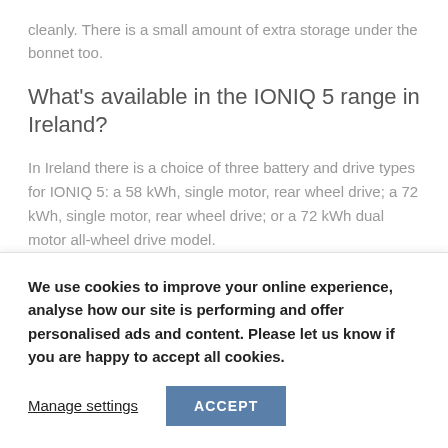cleanly. There is a small amount of extra storage under the bonnet too.
What's available in the IONIQ 5 range in Ireland?
In Ireland there is a choice of three battery and drive types for IONIQ 5: a 58 kWh, single motor, rear wheel drive; a 72 kWh, single motor, rear wheel drive; or a 72 kWh dual motor all-wheel drive model.
The 58 kWh model on test for Changing Lanes is single
We use cookies to improve your online experience, analyse how our site is performing and offer personalised ads and content. Please let us know if you are happy to accept all cookies.
Manage settings
ACCEPT